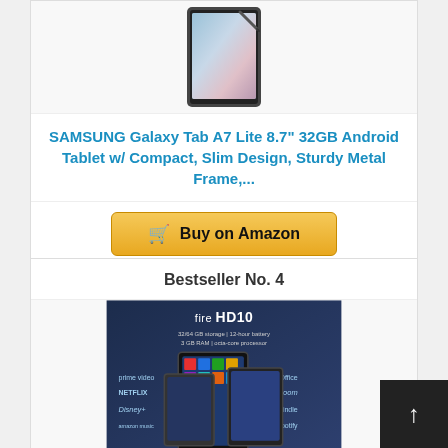[Figure (photo): SAMSUNG Galaxy Tab A7 Lite tablet device product photo]
SAMSUNG Galaxy Tab A7 Lite 8.7" 32GB Android Tablet w/ Compact, Slim Design, Sturdy Metal Frame,...
Buy on Amazon
Bestseller No. 4
[Figure (photo): Amazon Fire HD10 tablet product image showing tablets with app logos (Prime Video, Netflix, Disney+, Amazon Music, Office, Zoom, Kindle, Spotify) and specs: 32/64 GB storage, 12-hour battery, 3 GB RAM, octa-core processor]